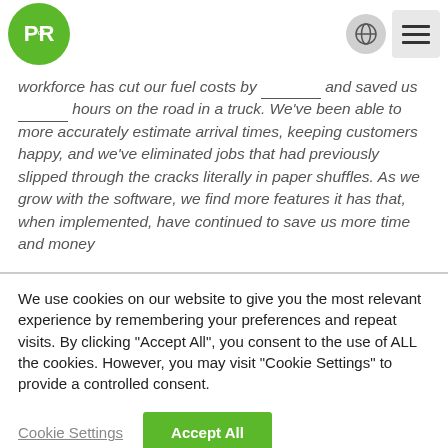[Figure (logo): Green circular logo with white text 'PofR' (P of R)]
workforce has cut our fuel costs by ________ and saved us _______ hours on the road in a truck. We've been able to more accurately estimate arrival times, keeping customers happy, and we've eliminated jobs that had previously slipped through the cracks literally in paper shuffles. As we grow with the software, we find more features it has that, when implemented, have continued to save us more time and money
We use cookies on our website to give you the most relevant experience by remembering your preferences and repeat visits. By clicking "Accept All", you consent to the use of ALL the cookies. However, you may visit "Cookie Settings" to provide a controlled consent.
Cookie Settings | Accept All